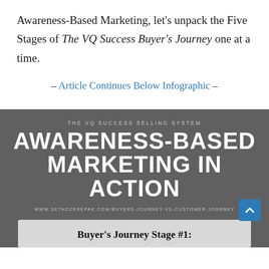Awareness-Based Marketing, let's unpack the Five Stages of The VQ Success Buyer's Journey one at a time.
– Article Continues Below Infographic –
[Figure (infographic): Dark grey infographic panel titled 'THE VQ SUCCESS SELLING SYSTEM' with large white bold heading 'AWARENESS-BASED MARKETING IN ACTION', a URL line, a scroll-to-top blue button, and a light grey box at the bottom beginning 'Buyer's Journey Stage #1:']
Buyer's Journey Stage #1: